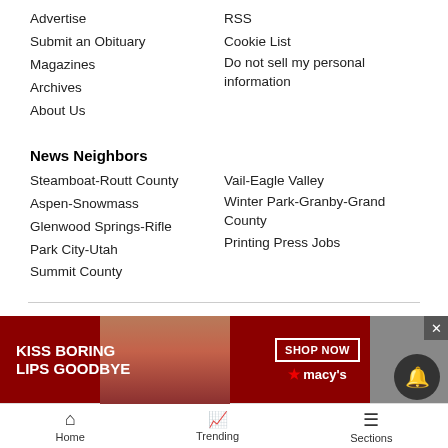Advertise
Submit an Obituary
Magazines
Archives
About Us
RSS
Cookie List
Do not sell my personal information
News Neighbors
Steamboat-Routt County
Aspen-Snowmass
Glenwood Springs-Rifle
Park City-Utah
Summit County
Vail-Eagle Valley
Winter Park-Granby-Grand County
Printing Press Jobs
About Us | Terms of Use | Privacy Policy | Careers
©2005 - 2022 Swift Communications, Inc.
[Figure (photo): Macy's advertisement: KISS BORING LIPS GOODBYE with SHOP NOW button and woman's face]
Home  Trending  Sections